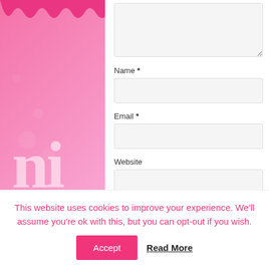[Figure (screenshot): Pink decorative website background with scallop pattern at top, white form panel overlaid with Name, Email, Website fields and checkbox]
Name *
Email *
Website
Save my name, email, and website in this browser for the next time I comment.
This website uses cookies to improve your experience. We'll assume you're ok with this, but you can opt-out if you wish.
Accept
Read More